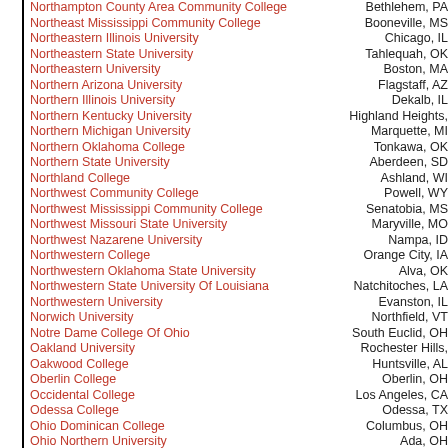Northampton County Area Community College — Bethlehem, PA
Northeast Mississippi Community College — Booneville, MS
Northeastern Illinois University — Chicago, IL
Northeastern State University — Tahlequah, OK
Northeastern University — Boston, MA
Northern Arizona University — Flagstaff, AZ
Northern Illinois University — Dekalb, IL
Northern Kentucky University — Highland Heights,
Northern Michigan University — Marquette, MI
Northern Oklahoma College — Tonkawa, OK
Northern State University — Aberdeen, SD
Northland College — Ashland, WI
Northwest Community College — Powell, WY
Northwest Mississippi Community College — Senatobia, MS
Northwest Missouri State University — Maryville, MO
Northwest Nazarene University — Nampa, ID
Northwestern College — Orange City, IA
Northwestern Oklahoma State University — Alva, OK
Northwestern State University Of Louisiana — Natchitoches, LA
Northwestern University — Evanston, IL
Norwich University — Northfield, VT
Notre Dame College Of Ohio — South Euclid, OH
Oakland University — Rochester Hills,
Oakwood College — Huntsville, AL
Oberlin College — Oberlin, OH
Occidental College — Los Angeles, CA
Odessa College — Odessa, TX
Ohio Dominican College — Columbus, OH
Ohio Northern University — Ada, OH